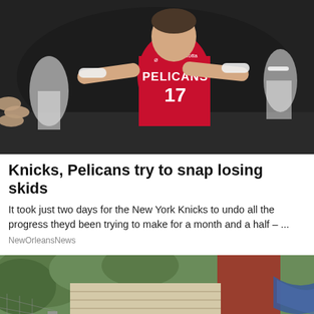[Figure (photo): Basketball player wearing New Orleans Pelicans red jersey number 17, arms spread wide, with other players visible in background on dark arena floor]
Knicks, Pelicans try to snap losing skids
It took just two days for the New York Knicks to undo all the progress theyd been trying to make for a month and a half – ...
NewOrleansNews
[Figure (photo): Exterior of an old wooden house being lifted or releveled, with wooden beams and hydraulic jacks visible underneath the structure, surrounded by dirt and construction materials]